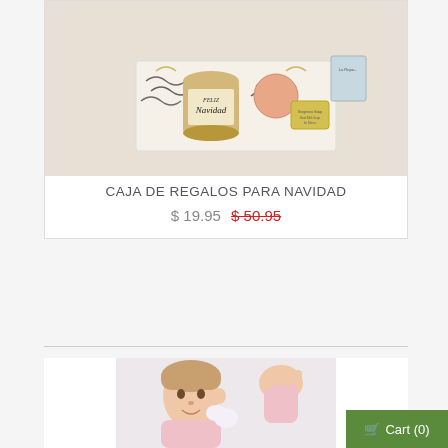[Figure (photo): Christmas gift box containing a candle labeled 'Feliz Navidad', a round pink soap, a yellow soap bar, and other items on black shredded filling]
CAJA DE REGALOS PARA NAVIDAD
$ 19.95  $ 50.95 (strikethrough)
[Figure (photo): Young girl in a pink fluffy robe waving at the camera, smiling]
Cart (0)